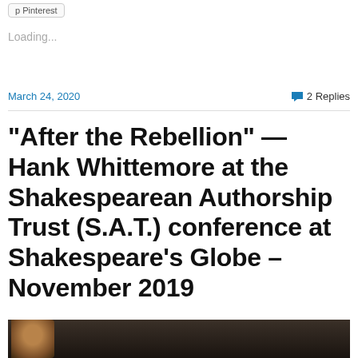p Pinterest
Loading...
March 24, 2020
2 Replies
“After the Rebellion” — Hank Whittemore at the Shakespearean Authorship Trust (S.A.T.) conference at Shakespeare’s Globe – November 2019
[Figure (photo): Bottom strip of a photograph showing people, partially visible at the bottom of the page]